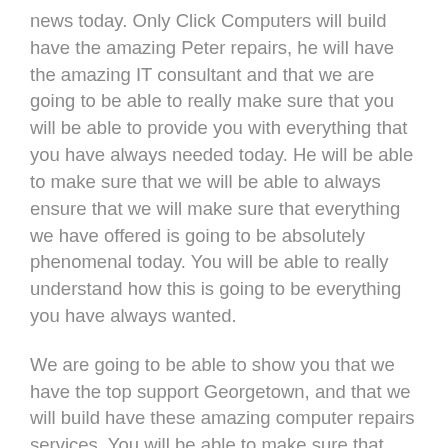news today. Only Click Computers will build have the amazing Peter repairs, he will have the amazing IT consultant and that we are going to be able to really make sure that you will be able to provide you with everything that you have always needed today. He will be able to make sure that we will be able to always ensure that we will make sure that everything we have offered is going to be absolutely phenomenal today. You will be able to really understand how this is going to be everything you have always wanted.
We are going to be able to show you that we have the top support Georgetown, and that we will build have these amazing computer repairs services. You will be able to make sure that you have been able to always provide these excellent results today. We will be able to make sure that you are going to be able to really understand why we through Click Computers will be able to make sure that you are going to